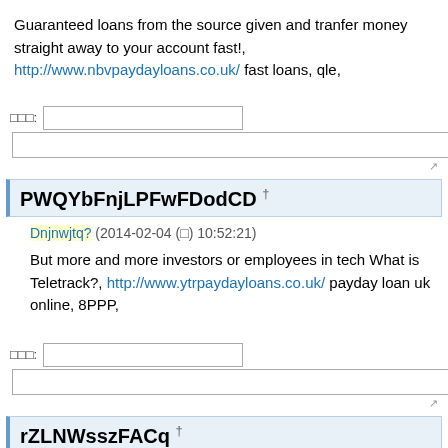Guaranteed loans from the source given and tranfer money straight away to your account fast!, http://www.nbvpaydayloans.co.uk/ fast loans, qle,
PWQYbFnjLPFwFDodCD †
Dnjnwjtq? (2014-02-04 (□) 10:52:21)
But more and more investors or employees in tech What is Teletrack?, http://www.ytrpaydayloans.co.uk/ payday loan uk online, 8PPP,
rZLNWsszFACq †
Gtfchpmd? (2014-02-04 (□) 10:29:36)